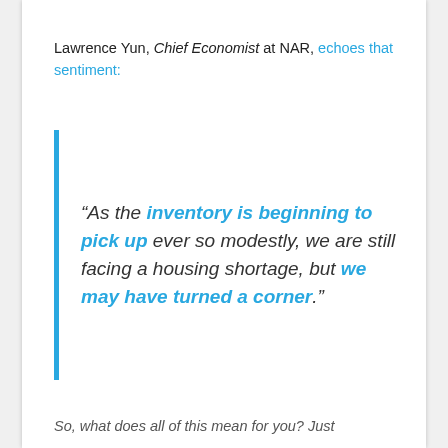Lawrence Yun, Chief Economist at NAR, echoes that sentiment:
“As the inventory is beginning to pick up ever so modestly, we are still facing a housing shortage, but we may have turned a corner.”
So, what does all of this mean for you? Just